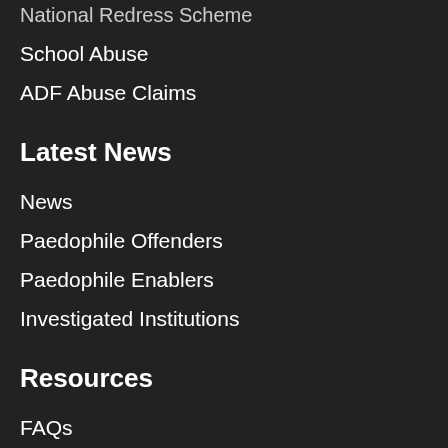National Redress Scheme
School Abuse
ADF Abuse Claims
Latest News
News
Paedophile Offenders
Paedophile Enablers
Investigated Institutions
Resources
FAQs
Testimonials
Downloadable Resources
Contact Information